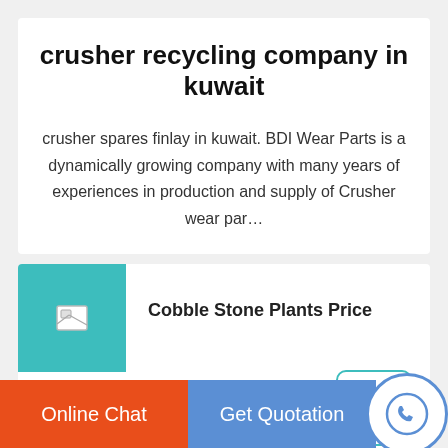crusher recycling company in kuwait
crusher spares finlay in kuwait. BDI Wear Parts is a dynamically growing company with many years of experiences in production and supply of Crusher wear par…
[Figure (other): Teal square thumbnail with broken image icon]
Cobble Stone Plants Price
[Figure (other): Teal outlined rounded square button with upward arrow icon]
Online Chat   Get Quotation